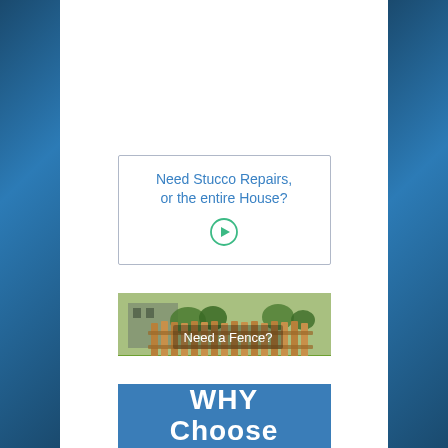[Figure (infographic): Advertisement box with blue border: 'Need Stucco Repairs, or the entire House?' with green play button icon]
[Figure (photo): Photo of a wooden fence along a green lawn with text overlay: 'Need a Fence?']
[Figure (infographic): Blue banner partially visible with bold white text reading 'WHY Choose' (more text cut off at bottom)]